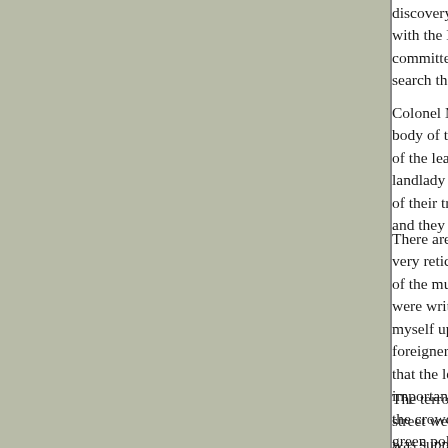discovery for some time. The police, fortuna with the Buck's row tragedy. Looking at th committed by a maniac or wretch of the lowe search the records of French lower peasant.
Colonel Mansell, Chief Constable of the dis body of the victim in the presence of the loca of the leather apron is that an apron of this landlady of the house has two sons, who are of their trade. The police have no doubt tha and they are convinced that the horrible crim
There are a number of conflicting statemen very reticent on this point. It is believed that i of the murder being brought to justice. Ther were written on the wall of the house in wh myself up." Large numbers of people are foreigners. In a house in the yard where the that the leather apron of which there has be importance whatever to the finding of the ap the crowd as the murderers, and were atta green police station, and there released.
The terror and excitement were somewhat street were thrown into a fresh state of alar was supposed to be the murderer, or connec